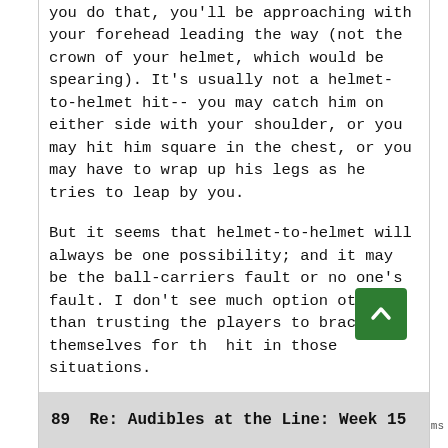you do that, you'll be approaching with your forehead leading the way (not the crown of your helmet, which would be spearing). It's usually not a helmet-to-helmet hit-- you may catch him on either side with your shoulder, or you may hit him square in the chest, or you may have to wrap up his legs as he tries to leap by you.
But it seems that helmet-to-helmet will always be one possibility; and it may be the ball-carriers fault or no one's fault. I don't see much option other than trusting the players to brace themselves for the hit in those situations.
89  Re: Audibles at the Line: Week 15